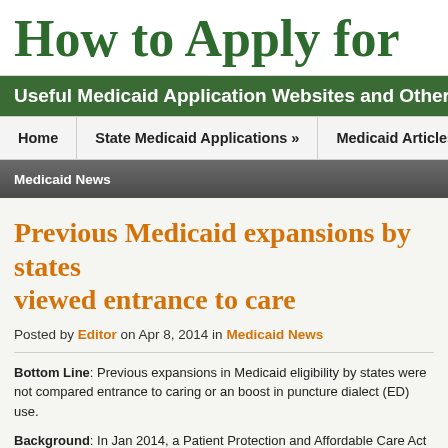How to Apply for
Useful Medicaid Application Websites and Other
Home   State Medicaid Applications »   Medicaid Articles »
Medicaid News
Previous Medicaid expansions by states viewed entrance to care
Posted by Editor on Apr 8, 2014 in Medicaid News
Bottom Line: Previous expansions in Medicaid eligibility by states were not compared entrance to caring or an boost in puncture dialect (ED) use.
Background: In Jan 2014, a Patient Protection and Affordable Care Act (ACA) stretched coverage in a open word module could be offering to some-more low-income Ameri…